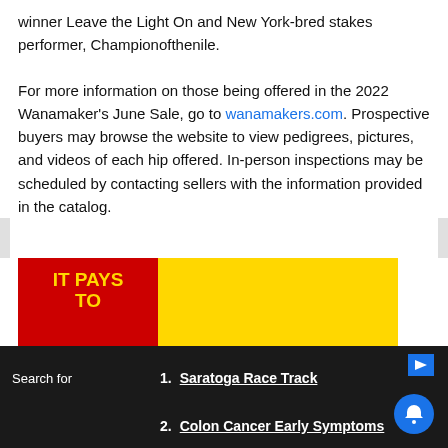winner Leave the Light On and New York-bred stakes performer, Championofthenile.
For more information on those being offered in the 2022 Wanamaker's June Sale, go to wanamakers.com. Prospective buyers may browse the website to view pedigrees, pictures, and videos of each hip offered. In-person inspections may be scheduled by contacting sellers with the information provided in the catalog.
[Figure (infographic): Advertisement: IT PAYS TO BREED FOAL RACE in Maryland — Bigger and better INCENTIVES to breed, foal and own Maryland-breds!]
Search for
1. Saratoga Race Track
2. Colon Cancer Early Symptoms